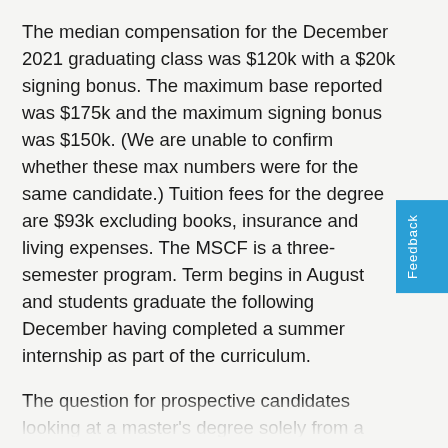The median compensation for the December 2021 graduating class was $120k with a $20k signing bonus. The maximum base reported was $175k and the maximum signing bonus was $150k. (We are unable to confirm whether these max numbers were for the same candidate.) Tuition fees for the degree are $93k excluding books, insurance and living expenses. The MSCF is a three-semester program. Term begins in August and students graduate the following December having completed a summer internship as part of the curriculum.
The question for prospective candidates looking at a master's degree solely from a monetary perspective is whether a $93k outlay and a year-and-a-half out of the jobs market are a good investment for a $100k median base salary, the same or less than most starting salaries at investment banks in New York. Of course, the Carnegie Mellon program can boost a candidate's employability (the $100k figure cited is only the median base) but there's a